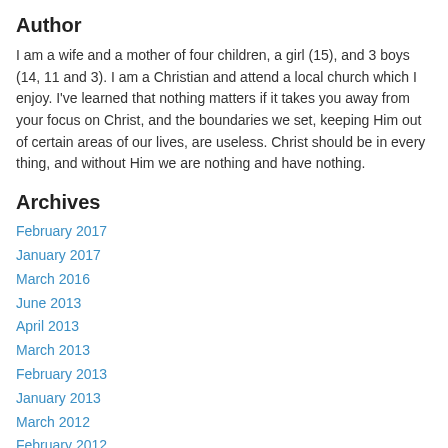Author
I am a wife and a mother of four children, a girl (15), and 3 boys (14, 11 and 3).  I am a Christian and attend a local church which I enjoy.  I've learned that nothing matters if it takes you away from your focus on Christ, and the boundaries we set, keeping Him out of certain areas of our lives, are useless.  Christ should be in every thing, and without Him we are nothing and have nothing.
Archives
February 2017
January 2017
March 2016
June 2013
April 2013
March 2013
February 2013
January 2013
March 2012
February 2012
January 2012